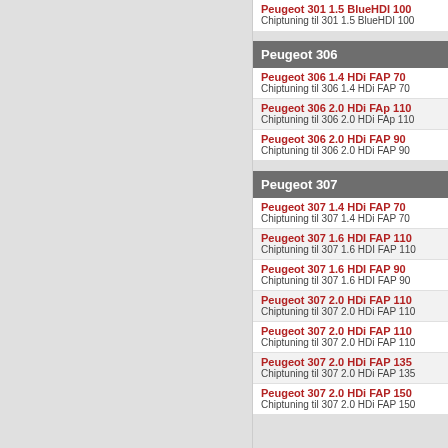Peugeot 301 1.5 BlueHDI 100
Chiptuning til 301 1.5 BlueHDI 100
Peugeot 306
Peugeot 306 1.4 HDi FAP 70
Chiptuning til 306 1.4 HDi FAP 70
Peugeot 306 2.0 HDi FAp 110
Chiptuning til 306 2.0 HDi FAp 110
Peugeot 306 2.0 HDi FAP 90
Chiptuning til 306 2.0 HDi FAP 90
Peugeot 307
Peugeot 307 1.4 HDi FAP 70
Chiptuning til 307 1.4 HDi FAP 70
Peugeot 307 1.6 HDI FAP 110
Chiptuning til 307 1.6 HDI FAP 110
Peugeot 307 1.6 HDI FAP 90
Chiptuning til 307 1.6 HDI FAP 90
Peugeot 307 2.0 HDi FAP 110
Chiptuning til 307 2.0 HDi FAP 110
Peugeot 307 2.0 HDi FAP 110
Chiptuning til 307 2.0 HDi FAP 110
Peugeot 307 2.0 HDi FAP 135
Chiptuning til 307 2.0 HDi FAP 135
Peugeot 307 2.0 HDi FAP 150
Chiptuning til 307 2.0 HDi FAP 150